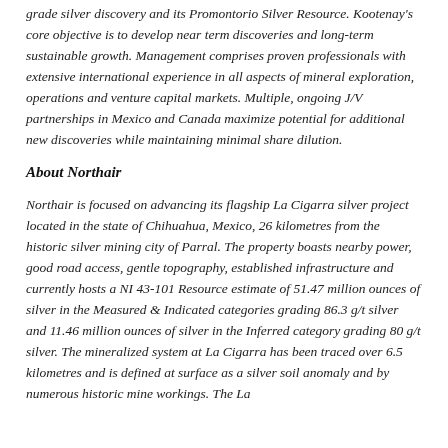grade silver discovery and its Promontorio Silver Resource. Kootenay's core objective is to develop near term discoveries and long-term sustainable growth. Management comprises proven professionals with extensive international experience in all aspects of mineral exploration, operations and venture capital markets. Multiple, ongoing J/V partnerships in Mexico and Canada maximize potential for additional new discoveries while maintaining minimal share dilution.
About Northair
Northair is focused on advancing its flagship La Cigarra silver project located in the state of Chihuahua, Mexico, 26 kilometres from the historic silver mining city of Parral. The property boasts nearby power, good road access, gentle topography, established infrastructure and currently hosts a NI 43-101 Resource estimate of 51.47 million ounces of silver in the Measured & Indicated categories grading 86.3 g/t silver and 11.46 million ounces of silver in the Inferred category grading 80 g/t silver. The mineralized system at La Cigarra has been traced over 6.5 kilometres and is defined at surface as a silver soil anomaly and by numerous historic mine workings. The La